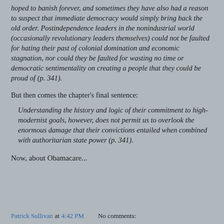hoped to banish forever, and sometimes they have also had a reason to suspect that immediate democracy would simply bring back the old order. Postindependence leaders in the nonindustrial world (occasionally revolutionary leaders themselves) could not be faulted for hating their past of colonial domination and economic stagnation, nor could they be faulted for wasting no time or democratic sentimentality on creating a people that they could be proud of (p. 341).
But then comes the chapter's final sentence:
Understanding the history and logic of their commitment to high-modernist goals, however, does not permit us to overlook the enormous damage that their convictions entailed when combined with authoritarian state power (p. 341).
Now, about Obamacare...
Patrick Sullivan at 4:42 PM   No comments: